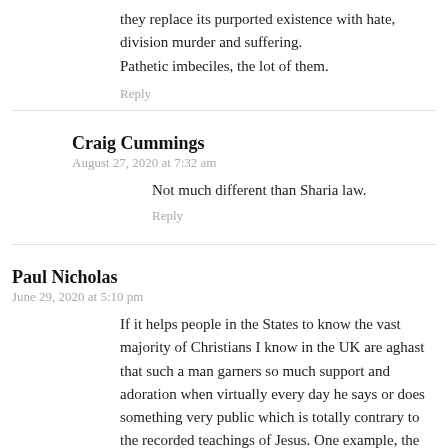they replace its purported existence with hate, division murder and suffering.
Pathetic imbeciles, the lot of them.
Reply
Craig Cummings
August 27, 2020 at 7:32 am
Not much different than Sharia law.
Reply
Paul Nicholas
June 29, 2020 at 5:10 pm
If it helps people in the States to know the vast majority of Christians I know in the UK are aghast that such a man garners so much support and adoration when virtually every day he says or does something very public which is totally contrary to the recorded teachings of Jesus. One example, the Bible says to consider (think upon, defer to) others better than